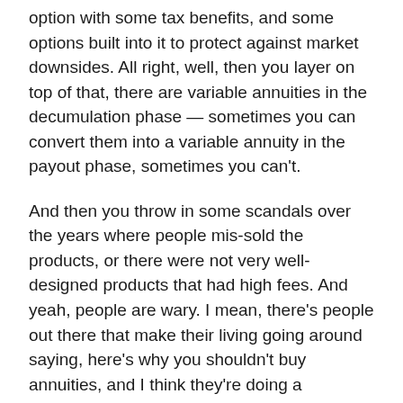option with some tax benefits, and some options built into it to protect against market downsides. All right, well, then you layer on top of that, there are variable annuities in the decumulation phase — sometimes you can convert them into a variable annuity in the payout phase, sometimes you can't.
And then you throw in some scandals over the years where people mis-sold the products, or there were not very well-designed products that had high fees. And yeah, people are wary. I mean, there's people out there that make their living going around saying, here's why you shouldn't buy annuities, and I think they're doing a disservice because they're painting the whole market with a broad brush. There is a lot of products out there I would never recommend. But when we're talking about